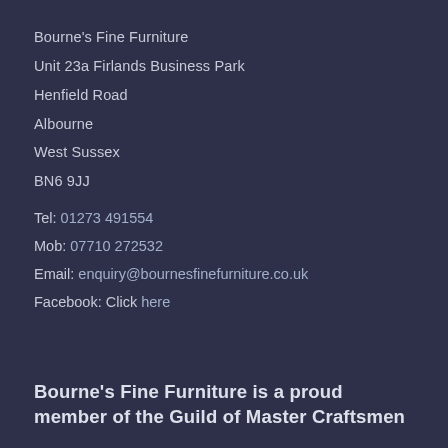Bourne's Fine Furniture
Unit 23a Firlands Business Park
Henfield Road
Albourne
West Sussex
BN6 9JJ
Tel: 01273 491554
Mob: 07710 272532
Email: enquiry@bournesfinefurniture.co.uk
Facebook: Click here
Bourne's Fine Furniture is a proud member of the Guild of Master Craftsmen